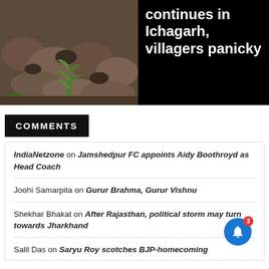[Figure (photo): Photo of rocky terrain with green plants, part of a news article thumbnail]
menace continues in Ichagarh, villagers panicky
COMMENTS
IndiaNetzone on Jamshedpur FC appoints Aidy Boothroyd as Head Coach
Joohi Samarpita on Gurur Brahma, Gurur Vishnu
Shekhar Bhakat on After Rajasthan, political storm may turn towards Jharkhand
Salil Das on Saryu Roy scotches BJP-homecoming